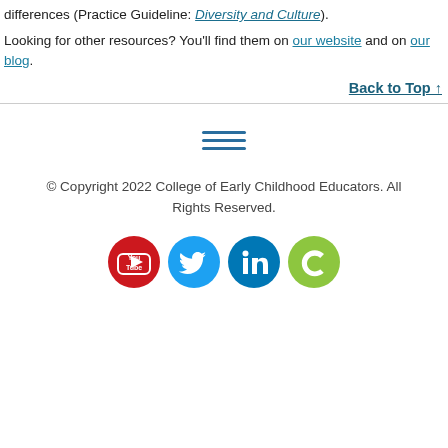differences (Practice Guideline: Diversity and Culture).
Looking for other resources? You'll find them on our website and on our blog.
Back to Top
© Copyright 2022 College of Early Childhood Educators. All Rights Reserved.
[Figure (other): Hamburger menu icon with three horizontal lines in teal/blue color]
[Figure (other): Social media icons: YouTube (red), Twitter (blue), LinkedIn (dark blue), and a green C-shaped icon]